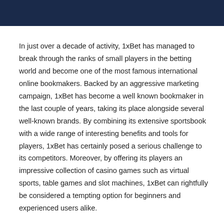In just over a decade of activity, 1xBet has managed to break through the ranks of small players in the betting world and become one of the most famous international online bookmakers. Backed by an aggressive marketing campaign, 1xBet has become a well known bookmaker in the last couple of years, taking its place alongside several well-known brands. By combining its extensive sportsbook with a wide range of interesting benefits and tools for players, 1xBet has certainly posed a serious challenge to its competitors. Moreover, by offering its players an impressive collection of casino games such as virtual sports, table games and slot machines, 1xBet can rightfully be considered a tempting option for beginners and experienced users alike.
In Bangladesh, the popularity of cricket betting has increased